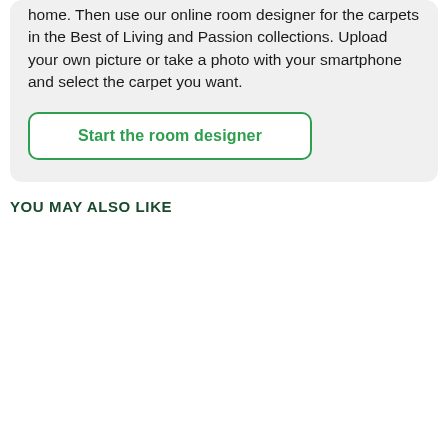home. Then use our online room designer for the carpets in the Best of Living and Passion collections. Upload your own picture or take a photo with your smartphone and select the carpet you want.
Start the room designer
YOU MAY ALSO LIKE